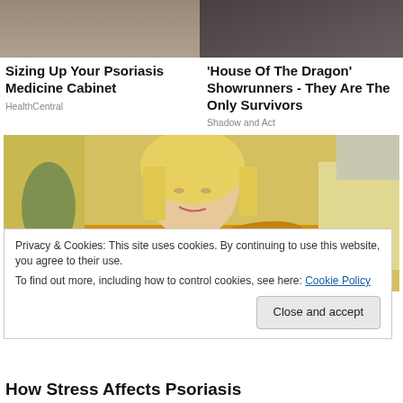[Figure (photo): Partial photo of a person, top-left article thumbnail]
[Figure (photo): Dark photo thumbnail for House of the Dragon article]
Sizing Up Your Psoriasis Medicine Cabinet
HealthCentral
'House Of The Dragon' Showrunners - They Are The Only Survivors
Shadow and Act
[Figure (photo): Woman with blonde hair in yellow sweater looking at her arm, likely examining skin condition]
Privacy & Cookies: This site uses cookies. By continuing to use this website, you agree to their use.
To find out more, including how to control cookies, see here: Cookie Policy
How Stress Affects Psoriasis